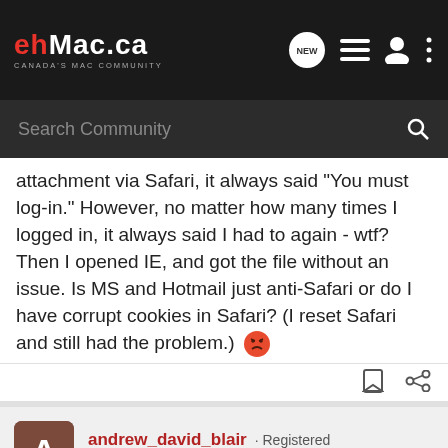ehMac.ca — CANADA'S MAC COMMUNITY
attachment via Safari, it always said "You must log-in." However, no matter how many times I logged in, it always said I had to again - wtf? Then I opened IE, and got the file without an issue. Is MS and Hotmail just anti-Safari or do I have corrupt cookies in Safari? (I reset Safari and still had the problem.)
andrew_david_blair · Registered
Joined Sep 27, 2003 · 84 Posts
#2 · Nov 26, 2003
ya it's completely a conspiracy of some sort. i decided to stop using hotmal for that very reason. i suggest you switch to yahoo